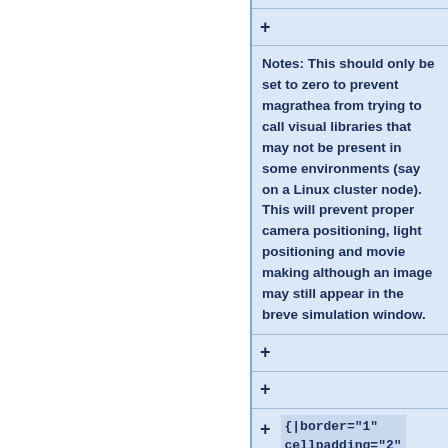Notes: This should only be set to zero to prevent magrathea from trying to call visual libraries that may not be present in some environments (say on a Linux cluster node).  This will prevent proper camera positioning, light positioning and movie making although an image may still appear in the breve simulation window.
{|border="1" cellpadding="2"
| align="center"